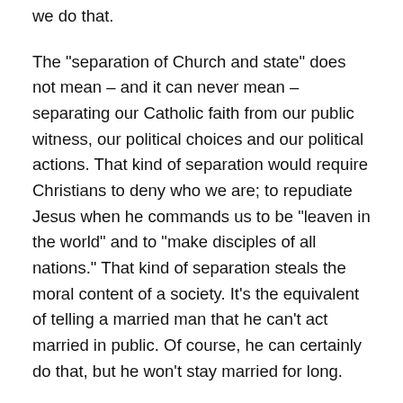we do that.
The "separation of Church and state" does not mean – and it can never mean – separating our Catholic faith from our public witness, our political choices and our political actions. That kind of separation would require Christians to deny who we are; to repudiate Jesus when he commands us to be "leaven in the world" and to "make disciples of all nations." That kind of separation steals the moral content of a society. It's the equivalent of telling a married man that he can't act married in public. Of course, he can certainly do that, but he won't stay married for long.
Can a Catholic Support Him? Asking the Big Question about Barack Obama
I began work on Render Unto Caesar in July 2006. I made the final changes to the text in November 2007. That's a